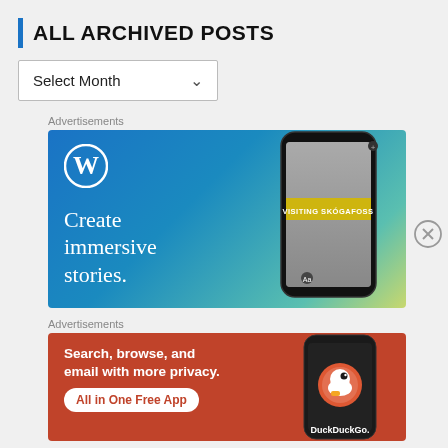ALL ARCHIVED POSTS
Select Month
Advertisements
[Figure (screenshot): WordPress advertisement banner: blue-to-teal gradient background with WordPress logo (W in circle), text 'Create immersive stories.' on left, smartphone showing waterfall photo with 'VISITING SKOGAFOSS' text overlay on right]
[Figure (other): Close/dismiss button (circled X) to the right of the WordPress ad]
Advertisements
[Figure (screenshot): DuckDuckGo advertisement banner: orange-red background, white bold text 'Search, browse, and email with more privacy.' with white pill button 'All in One Free App', smartphone showing DuckDuckGo logo and wordmark on right]